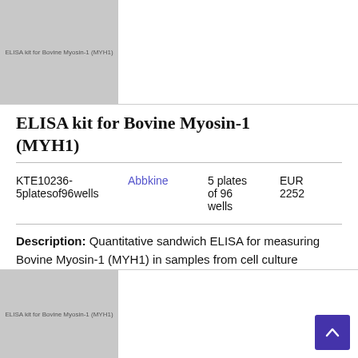[Figure (photo): Product image placeholder for ELISA kit for Bovine Myosin-1 (MYH1), top card (partially visible)]
ELISA kit for Bovine Myosin-1 (MYH1)
| Catalog | Brand | Size | Price |
| --- | --- | --- | --- |
| KTE10236-5platesof96wells | Abbkine | 5 plates of 96 wells | EUR 2252 |
Description: Quantitative sandwich ELISA for measuring Bovine Myosin-1 (MYH1) in samples from cell culture supernatants, serum, whole blood, plasma and other biological fluids.
[Figure (photo): Product image placeholder for ELISA kit for Bovine Myosin-1 (MYH1), bottom card (partially visible)]